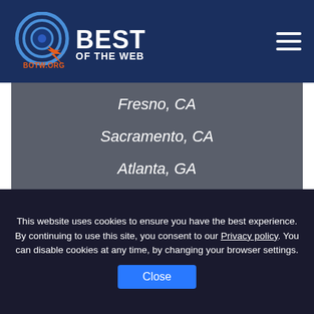Best of the Web – BOTW.ORG
Fresno, CA
Sacramento, CA
Atlanta, GA
Kansas City, MO
Colorado Springs, CO
This website uses cookies to ensure you have the best experience. By continuing to use this site, you consent to our Privacy policy. You can disable cookies at any time, by changing your browser settings.